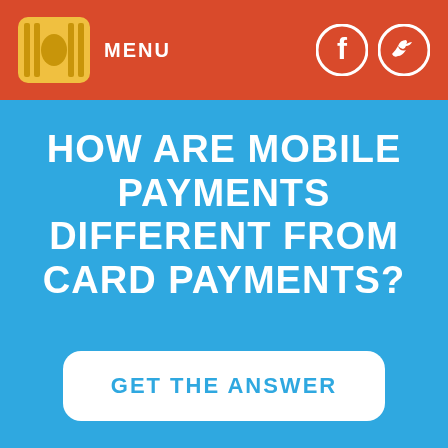MENU
HOW ARE MOBILE PAYMENTS DIFFERENT FROM CARD PAYMENTS?
GET THE ANSWER